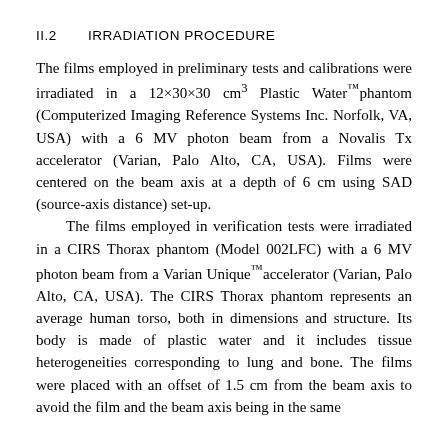II.2    IRRADIATION PROCEDURE
The films employed in preliminary tests and calibrations were irradiated in a 12×30×30 cm³ Plastic Water™phantom (Computerized Imaging Reference Systems Inc. Norfolk, VA, USA) with a 6 MV photon beam from a Novalis Tx accelerator (Varian, Palo Alto, CA, USA). Films were centered on the beam axis at a depth of 6 cm using SAD (source-axis distance) set-up.
    The films employed in verification tests were irradiated in a CIRS Thorax phantom (Model 002LFC) with a 6 MV photon beam from a Varian Unique™accelerator (Varian, Palo Alto, CA, USA). The CIRS Thorax phantom represents an average human torso, both in dimensions and structure. Its body is made of plastic water and it includes tissue heterogeneities corresponding to lung and bone. The films were placed with an offset of 1.5 cm from the beam axis to avoid the film and the beam axis being in the same